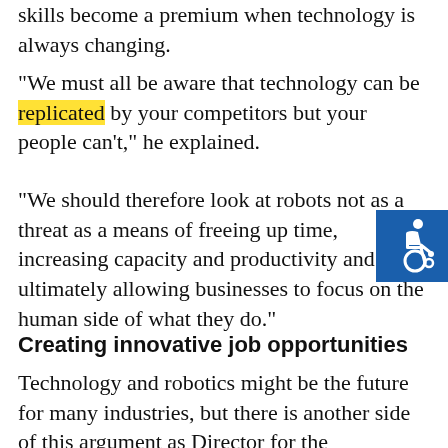skills become a premium when technology is always changing.
"We must all be aware that technology can be replicated by your competitors but your people can't," he explained.
"We should therefore look at robots not as a threat as a means of freeing up time, increasing capacity and productivity and ultimately allowing businesses to focus on the human side of what they do."
[Figure (illustration): Blue square accessibility/wheelchair icon]
Creating innovative job opportunities
Technology and robotics might be the future for many industries, but there is another side of this argument as Director for the Information and Intelligent Systems Division at the National Science Foundation Lynne Parker explained in a 2015 Tech Insider article.